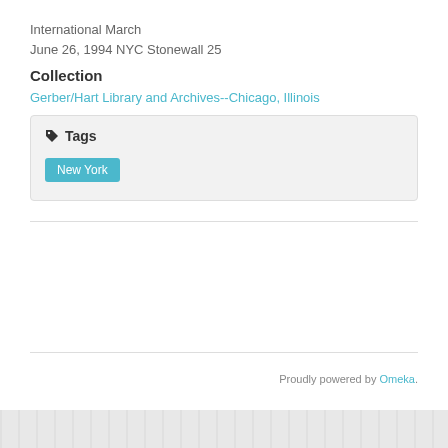International March
June 26, 1994 NYC Stonewall 25
Collection
Gerber/Hart Library and Archives--Chicago, Illinois
Tags
New York
Proudly powered by Omeka.